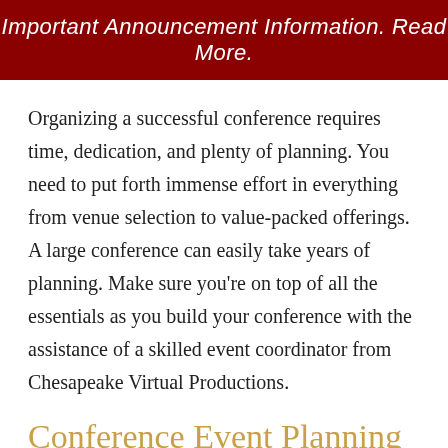Important Announcement Information. Read More.
Organizing a successful conference requires time, dedication, and plenty of planning. You need to put forth immense effort in everything from venue selection to value-packed offerings. A large conference can easily take years of planning. Make sure you're on top of all the essentials as you build your conference with the assistance of a skilled event coordinator from Chesapeake Virtual Productions.
Conference Event Planning
If you're just getting started with your conference plans, you have a lot to think about. Corporate event